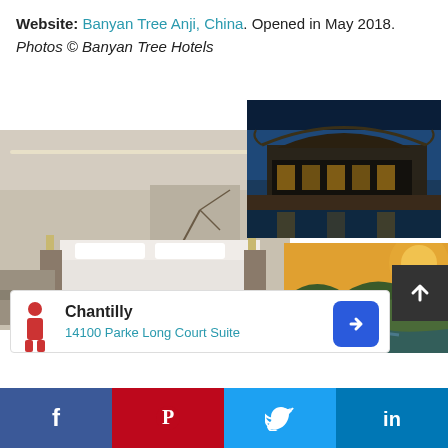Website: Banyan Tree Anji, China. Opened in May 2018. Photos © Banyan Tree Hotels
[Figure (photo): Hotel room interior with white bed, Asian-inspired decor, wall art, and a round bath in foreground]
[Figure (photo): Exterior architectural shot of traditional Chinese curved roof reflected in still water pool at dusk]
[Figure (photo): Aerial panoramic view of Anji valley with river, mountains, and village at sunset]
Chantilly
14100 Parke Long Court Suite
f  P  (twitter bird)  in